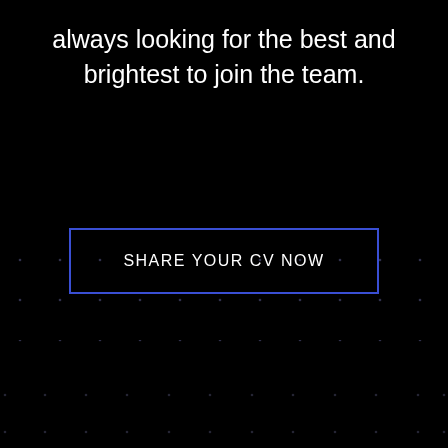always looking for the best and brightest to join the team.
SHARE YOUR CV NOW
[Figure (other): Dark background with decorative dot grid pattern covering the lower half of the page]